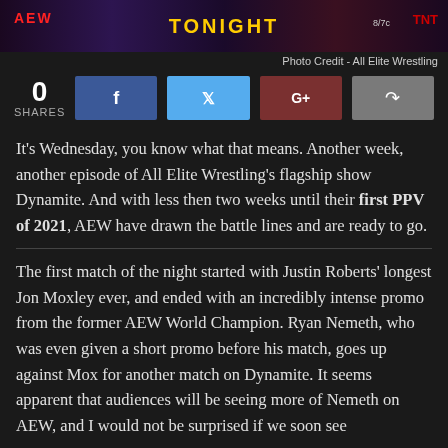[Figure (photo): Dark promotional banner showing 'TONIGHT' text in yellow on a dark purple/red background with TV broadcast time indicator]
Photo Credit - All Elite Wrestling
0 SHARES
It's Wednesday, you know what that means. Another week, another episode of All Elite Wrestling's flagship show Dynamite. And with less then two weeks until their first PPV of 2021, AEW have drawn the battle lines and are ready to go.
The first match of the night started with Justin Roberts' longest Jon Moxley ever, and ended with an incredibly intense promo from the former AEW World Champion. Ryan Nemeth, who was even given a short promo before his match, goes up against Mox for another match on Dynamite. It seems apparent that audiences will be seeing more of Nemeth on AEW, and I would not be surprised if we soon see